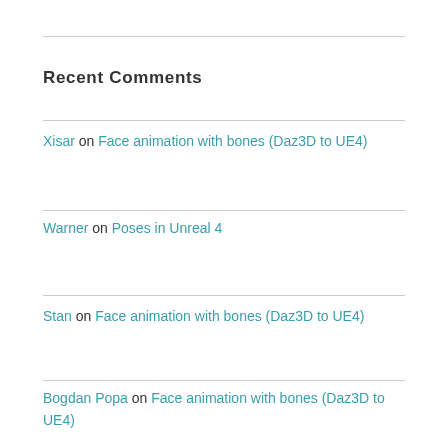Recent Comments
Xisar on Face animation with bones (Daz3D to UE4)
Warner on Poses in Unreal 4
Stan on Face animation with bones (Daz3D to UE4)
Bogdan Popa on Face animation with bones (Daz3D to UE4)
Li on Japanese Traditional Furniture